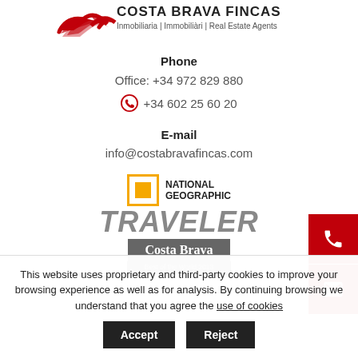[Figure (logo): Costa Brava Fincas logo with red bird/wave mark and text: COSTA BRAVA FINCAS Inmobiliaria | Immobiliaria | Real Estate Agents]
Phone
Office: +34 972 829 880
+34 602 25 60 20
E-mail
info@costabravafincas.com
[Figure (logo): National Geographic Traveler logo with yellow square border icon and TRAVELER in large gray italic text, and Costa Brava Best of the World 2013 badge in gray]
This website uses proprietary and third-party cookies to improve your browsing experience as well as for analysis. By continuing browsing we understand that you agree the use of cookies
Accept
Reject